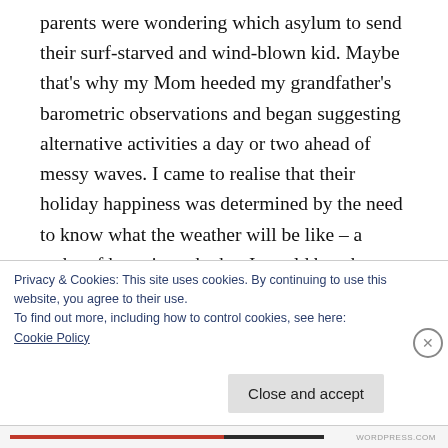parents were wondering which asylum to send their surf-starved and wind-blown kid. Maybe that's why my Mom heeded my grandfather's barometric observations and began suggesting alternative activities a day or two ahead of messy waves. I came to realise that their holiday happiness was determined by the need to know what the weather will be like – a wahy of knowing whether I would be a happy camper sated from a day of surfing and out of their hair or a bundle of energy needing a wave-fix.
Privacy & Cookies: This site uses cookies. By continuing to use this website, you agree to their use.
To find out more, including how to control cookies, see here:
Cookie Policy
Close and accept